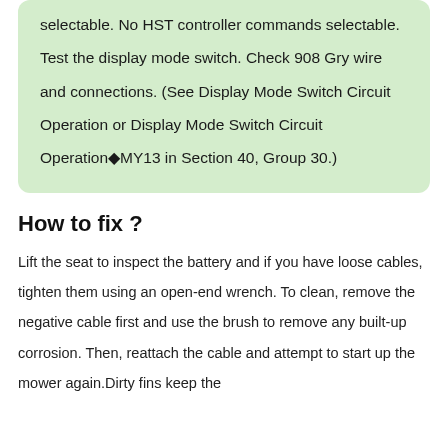selectable. No HST controller commands selectable. Test the display mode switch. Check 908 Gry wire and connections. (See Display Mode Switch Circuit Operation or Display Mode Switch Circuit Operation◆MY13 in Section 40, Group 30.)
How to fix ?
Lift the seat to inspect the battery and if you have loose cables, tighten them using an open-end wrench. To clean, remove the negative cable first and use the brush to remove any built-up corrosion. Then, reattach the cable and attempt to start up the mower again.Dirty fins keep the